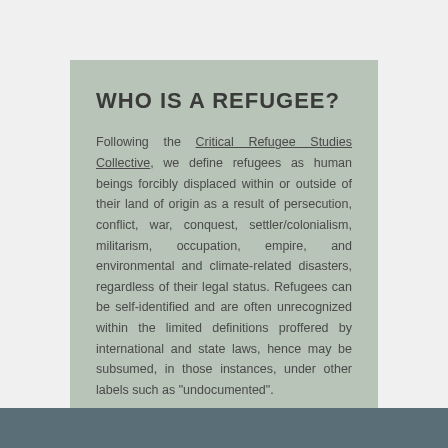WHO IS A REFUGEE?
Following the Critical Refugee Studies Collective, we define refugees as human beings forcibly displaced within or outside of their land of origin as a result of persecution, conflict, war, conquest, settler/colonialism, militarism, occupation, empire, and environmental and climate-related disasters, regardless of their legal status. Refugees can be self-identified and are often unrecognized within the limited definitions proffered by international and state laws, hence may be subsumed, in those instances, under other labels such as "undocumented".